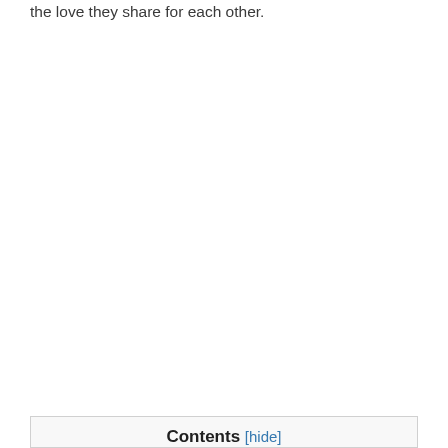the love they share for each other.
Contents [hide]